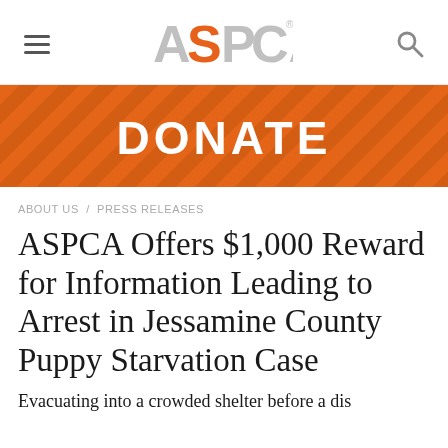[Figure (logo): ASPCA logo with hamburger menu icon on left and search icon on right in navigation bar]
[Figure (infographic): Orange striped donate banner with bold white text reading DONATE]
ABOUT US / PRESS RELEASES
ASPCA Offers $1,000 Reward for Information Leading to Arrest in Jessamine County Puppy Starvation Case
Evacuating into a crowded shelter before a dis...